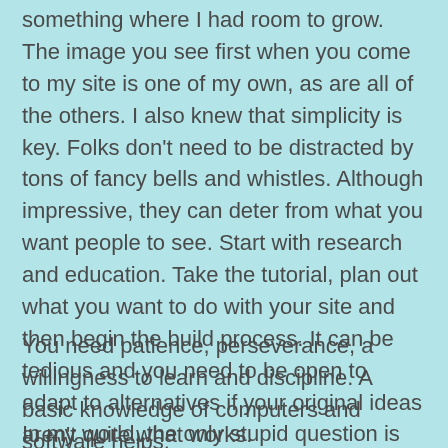something where I had room to grow. The image you see first when you come to my site is one of my own, as are all of the others. I also knew that simplicity is key. Folks don't need to be distracted by tons of fancy bells and whistles. Although impressive, they can deter from what you want people to see. Start with research and education. Take the tutorial, plan out what you want to do with your site and then begin the build process. It can be tedious and you need to be open to adapt to alternatives if your original ideas aren't quite what works.
You need patience, perseverance, a willingness to learn and discipline. A basic knowledge of computers and software helps.
In my world, the only stupid question is an